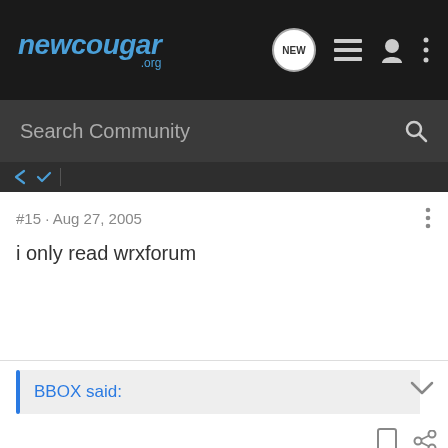newcougar.org
Search Community
#15 · Aug 27, 2005
i only read wrxforum
BBOX said:
CougarKid2004 · Registered
Joined Nov 6, 2003 · 1,756 Posts